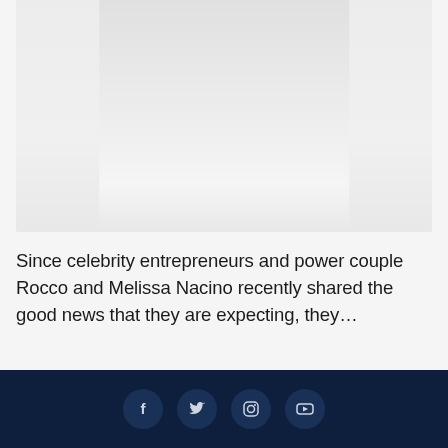[Figure (photo): Large image placeholder area with light gray background, appears to be a cropped/partially visible photo]
Since celebrity entrepreneurs and power couple Rocco and Melissa Nacino recently shared the good news that they are expecting, they…
ADVERTISEMENT
[Figure (other): Dark navy footer bar with social media icons: Facebook, Twitter, Instagram, YouTube]